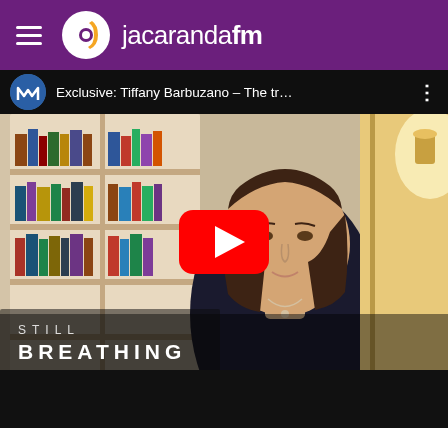jacarandafm
[Figure (screenshot): YouTube embedded video thumbnail showing Tiffany Barbuzano being interviewed in front of a bookshelf. Video title bar reads 'Exclusive: Tiffany Barbuzano – The tr…'. A large red YouTube play button is centered. The lower-left corner shows text overlay 'STILL BREATHING' against a dark stylized background. The website header shows the Jacaranda FM logo on a purple background with hamburger menu icon.]